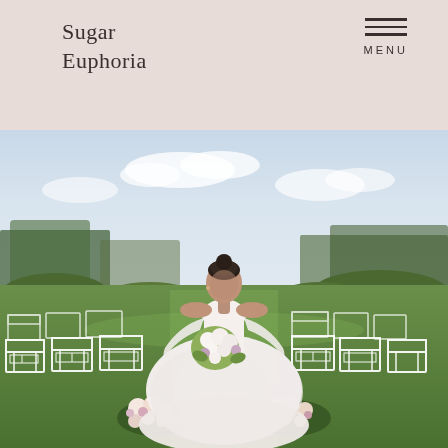Sugar Euphoria   MENU
[Figure (photo): A bride in a white off-shoulder ballgown with long sleeves holds a large floral bouquet of white and pastel flowers. She stands at an outdoor wedding ceremony aisle lined with white geometric chairs and floral arrangements on the grass, with trees and a pale blue sky in the background.]